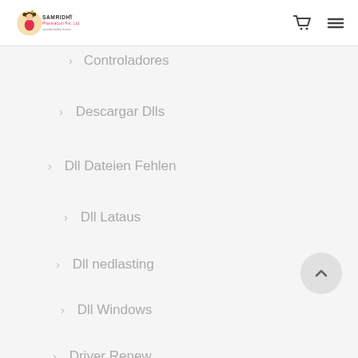Samridhi Pharmacom Pvt. Ltd.
Controladores
Descargar Dlls
Dll Dateien Fehlen
Dll Lataus
Dll nedlasting
Dll Windows
Driver Renew
Drivers Update
Drivers Windows
Fix Dll